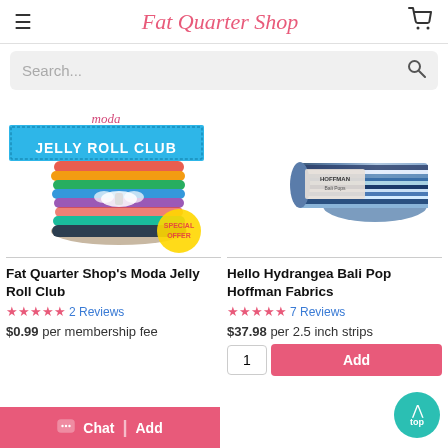Fat Quarter Shop
Search...
[Figure (photo): Moda Jelly Roll Club stacked jelly rolls with ribbon bows and a special offer badge, with Jelly Roll Club banner at top]
[Figure (photo): Hello Hydrangea Bali Pop by Hoffman Fabrics - rolled fabric strips in blue/purple tones]
Fat Quarter Shop's Moda Jelly Roll Club
Hello Hydrangea Bali Pop Hoffman Fabrics
★★★★★  2 Reviews
★★★★★  7 Reviews
$0.99 per membership fee
$37.98 per 2.5 inch strips
Chat  Add
1  Add